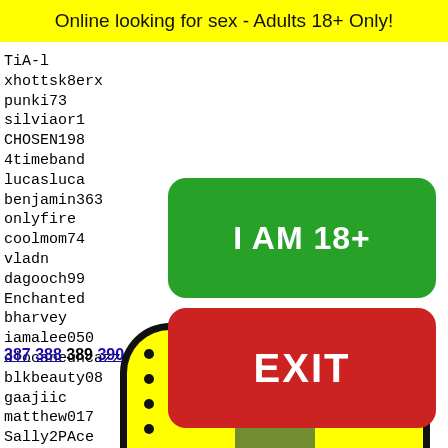Online looking for sex - Adults 18+ Only!
TiA-l
xhottsk8erx
punki73
silviaor1
CHOSEN198
4timeband
lucasluca
benjamin363
onlyfire
coolmom74
vladn
dagooch99
Enchanted
bharvey
iamalee050
diocaneuncazzodinome
blkbeauty08
gaajiic
matthew017
Sally2PAce
eddiek
brilli
zzyftp
Aven_e
claudi
RealVo
[Figure (other): Green button labeled I AM 18+]
[Figure (other): Red button labeled EXIT]
387 388 389 390 391
[Figure (illustration): Yellow rounded rectangle with black dot pattern and a green frog face peeking from bottom]